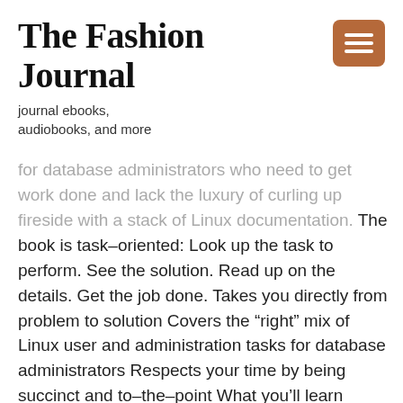The Fashion Journal
journal ebooks, audiobooks, and more
for database administrators who need to get work done and lack the luxury of curling up fireside with a stack of Linux documentation. The book is task–oriented: Look up the task to perform. See the solution. Read up on the details. Get the job done. Takes you directly from problem to solution Covers the “right” mix of Linux user and administration tasks for database administrators Respects your time by being succinct and to–the–point What you’ll learn Execute Linux commands applicable to Oracle Database administration. Write shell scripts to automate critical DBA tasks. Monitor, tune, and optimize a Linux server to run Oracle Database.